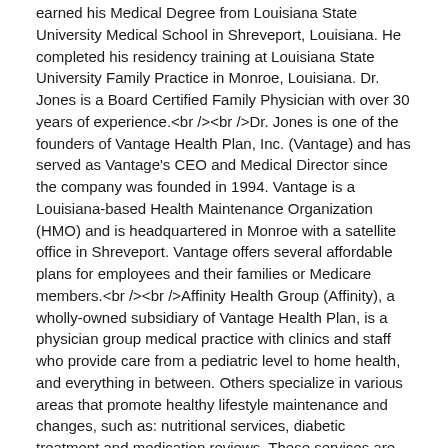earned his Medical Degree from Louisiana State University Medical School in Shreveport, Louisiana. He completed his residency training at Louisiana State University Family Practice in Monroe, Louisiana. Dr. Jones is a Board Certified Family Physician with over 30 years of experience.<br /><br />Dr. Jones is one of the founders of Vantage Health Plan, Inc. (Vantage) and has served as Vantage's CEO and Medical Director since the company was founded in 1994. Vantage is a Louisiana-based Health Maintenance Organization (HMO) and is headquartered in Monroe with a satellite office in Shreveport. Vantage offers several affordable plans for employees and their families or Medicare members.<br /><br />Affinity Health Group (Affinity), a wholly-owned subsidiary of Vantage Health Plan, is a physician group medical practice with clinics and staff who provide care from a pediatric level to home health, and everything in between. Others specialize in various areas that promote healthy lifestyle maintenance and changes, such as: nutritional services, diabetic treatment and medication reviews. These services are available at Affinity's Case Management Clinics and Saint John Pharmacy.
The Medical Office
A Brief Listing of the TMO...